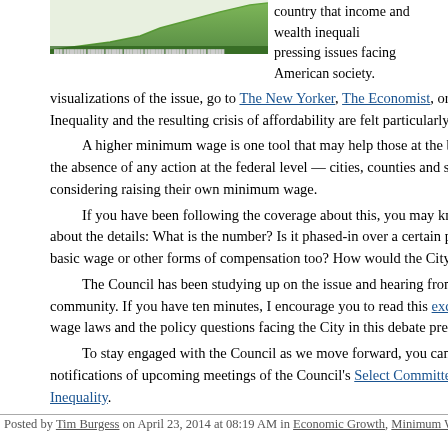[Figure (other): Green area chart thumbnail showing income/wealth inequality trend]
country that income and wealth inequality are among the most pressing issues facing American society.
visualizations of the issue, go to The New Yorker, The Economist, or this fascinating Inequality and the resulting crisis of affordability are felt particularly strongly in u
A higher minimum wage is one tool that may help those at the bottom of the inc... the absence of any action at the federal level — cities, counties and states across th... considering raising their own minimum wage.
If you have been following the coverage about this, you may know that most of... about the details: What is the number? Is it phased-in over a certain period of time... basic wage or other forms of compensation too? How would the City enforce this?
The Council has been studying up on the issue and hearing from many different... community. If you have ten minutes, I encourage you to read this excellent review... wage laws and the policy questions facing the City in this debate prepared by Cou...
To stay engaged with the Council as we move forward, you can sign up to recei... notifications of upcoming meetings of the Council's Select Committee on Minimu... Inequality.
Posted by Tim Burgess on April 23, 2014 at 08:19 AM in Economic Growth, Minimum Wage | Permal...